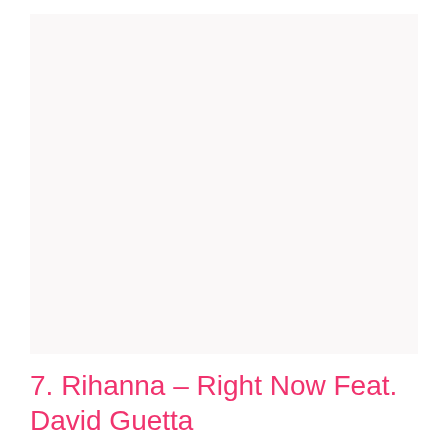[Figure (other): Large light pink/off-white rectangular image placeholder area]
7. Rihanna – Right Now Feat. David Guetta